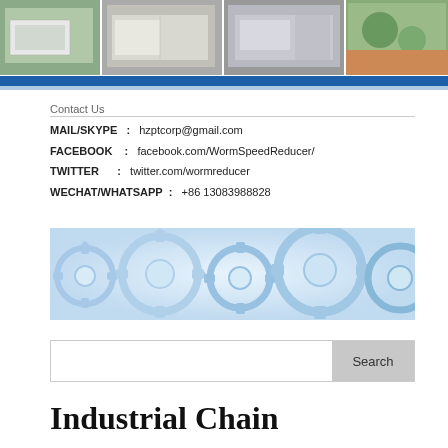[Figure (photo): Horizontal strip of four factory/building exterior photos with blue bar below]
Contact Us
MAIL/SKYPE : hzptcorp@gmail.com
FACEBOOK : facebook.com/WormSpeedReducer/
TWITTER : twitter.com/wormreducer
WECHAT/WHATSAPP : +86 13083988828
[Figure (illustration): Decorative banner with interconnected gear/cog wheels in blue and white tones]
[Figure (other): Search input box with Search button]
Industrial Chain